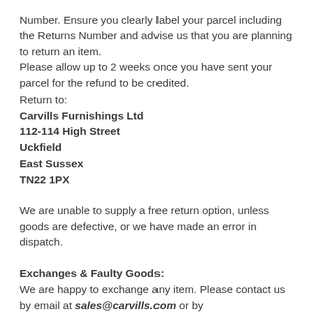Number.  Ensure you clearly label your parcel including the Returns Number and advise us that you are planning to return an item.
Please allow up to 2 weeks once you have sent your parcel for the refund to be credited.
Return to:
Carvills Furnishings Ltd
112-114 High Street
Uckfield
East Sussex
TN22 1PX
We are unable to supply a free return option, unless goods are defective, or we have made an error in dispatch.
Exchanges & Faulty Goods:
We are happy to exchange any item. Please contact us by email at sales@carvills.com or by